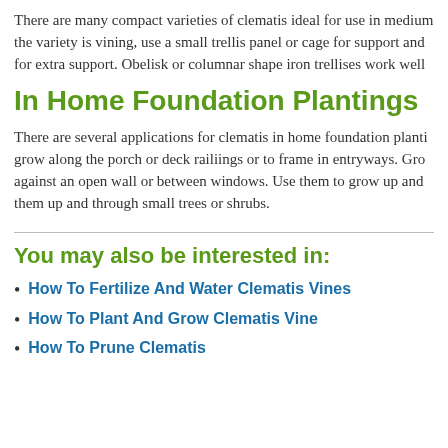There are many compact varieties of clematis ideal for use in medium the variety is vining, use a small trellis panel or cage for support and for extra support. Obelisk or columnar shape iron trellises work well
In Home Foundation Plantings
There are several applications for clematis in home foundation planting grow along the porch or deck railiings or to frame in entryways. Grow against an open wall or between windows. Use them to grow up and them up and through small trees or shrubs.
You may also be interested in:
How To Fertilize And Water Clematis Vines
How To Plant And Grow Clematis Vine
How To Prune Clematis